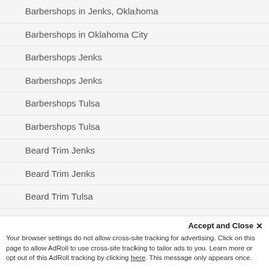Barbershops in Jenks, Oklahoma
Barbershops in Oklahoma City
Barbershops Jenks
Barbershops Jenks
Barbershops Tulsa
Barbershops Tulsa
Beard Trim Jenks
Beard Trim Jenks
Beard Trim Tulsa
Beard Trim Tulsa
Best 10 Barbers in Jenks
Best Barbershops Broken Arrow
Accept and Close ✕
Your browser settings do not allow cross-site tracking for advertising. Click on this page to allow AdRoll to use cross-site tracking to tailor ads to you. Learn more or opt out of this AdRoll tracking by clicking here. This message only appears once.